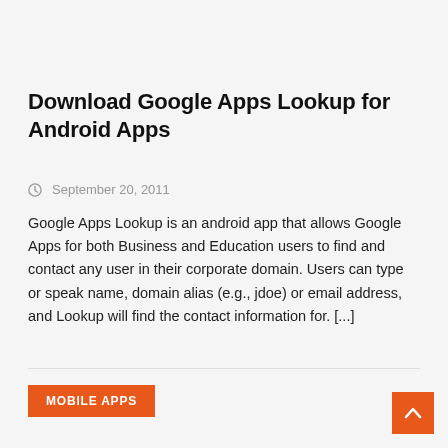Download Google Apps Lookup for Android Apps
September 20, 2011
Google Apps Lookup is an android app that allows Google Apps for both Business and Education users to find and contact any user in their corporate domain. Users can type or speak name, domain alias (e.g., jdoe) or email address, and Lookup will find the contact information for. [...]
MOBILE APPS